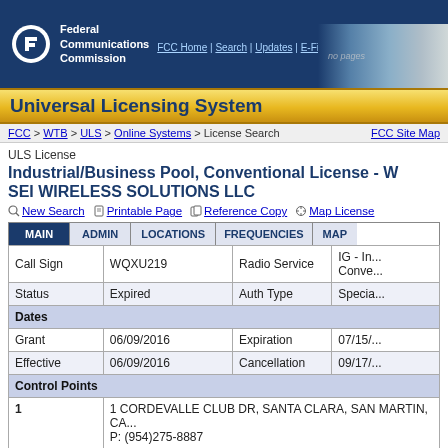FCC Federal Communications Commission | FCC Home | Search | Updates | E-Filing | Initiatives
Universal Licensing System
FCC > WTB > ULS > Online Systems > License Search
FCC Site Map
ULS License
Industrial/Business Pool, Conventional License - W SEI WIRELESS SOLUTIONS LLC
New Search
Printable Page
Reference Copy
Map License
| Field | Value | Field | Value |
| --- | --- | --- | --- |
| Call Sign | WQXU219 | Radio Service | IG - In... Conve... |
| Status | Expired | Auth Type | Specia... |
| Dates |  |  |  |
| Grant | 06/09/2016 | Expiration | 07/15/... |
| Effective | 06/09/2016 | Cancellation | 09/17/... |
| Control Points |  |  |  |
| 1 | 1 CORDEVALLE CLUB DR, SANTA CLARA, SAN MARTIN, CA... P: (954)275-8887 |  |  |